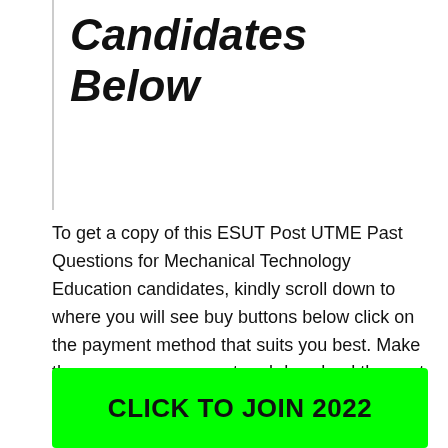Candidates Below
To get a copy of this ESUT Post UTME Past Questions for Mechanical Technology Education candidates, kindly scroll down to where you will see buy buttons below click on the payment method that suits you best. Make the necessary payment and download the past questions right away.
CLICK TO JOIN 2022